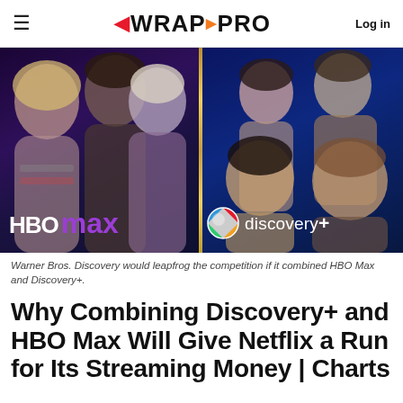WRAP PRO — Log in
[Figure (photo): Split image showing HBO Max (left, dark purple background with TV show characters) and Discovery+ (right, dark blue background with smiling couples/hosts) logos and branding]
Warner Bros. Discovery would leapfrog the competition if it combined HBO Max and Discovery+.
Why Combining Discovery+ and HBO Max Will Give Netflix a Run for Its Streaming Money | Charts